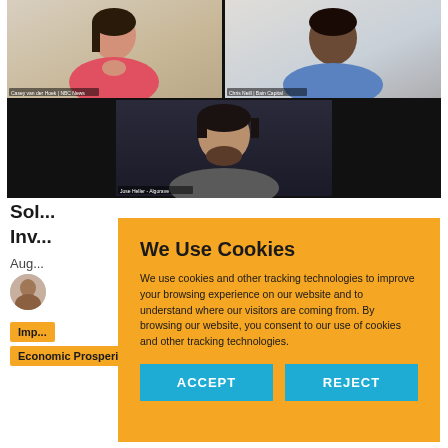[Figure (screenshot): Video call screenshot showing three participants in a grid layout: top-left is a woman in a pink/coral top with caption 'Casey van der Hoek | NBC News', top-right is a man in a blue shirt with caption 'Chris Neill | Bain Capital', and bottom-center is a man with dark hair and beard wearing a grey hoodie with caption 'Jose Heller - Algorave']
Sol...
Inv...
Aug...
[Figure (photo): Small circular avatar photo of a person]
Imp...
Economic Prosperity
We Use Cookies

We use cookies and other tracking technologies to improve your browsing experience on our website and to understand where our visitors are coming from. By browsing our website, you consent to our use of cookies and other tracking technologies.

ACCEPT   REJECT